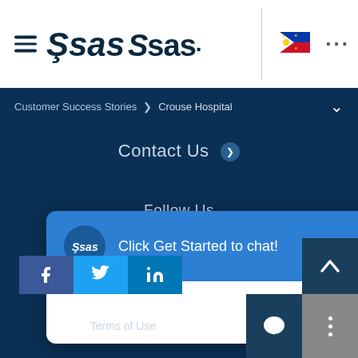[Figure (logo): SAS logo with hamburger menu icon on the left, Philippine flag and ellipsis menu on the right in the top navigation bar]
Customer Success Stories > Crouse Hospital
Contact Us
Follow Us
[Figure (screenshot): SAS chat popup widget with blue header showing 'Click Get Started to chat!' and a 'Get Started' button, with a close (X) button]
Terms of Use
[Figure (infographic): Social media icons row: Facebook (blue), Twitter (light blue), LinkedIn (dark blue)]